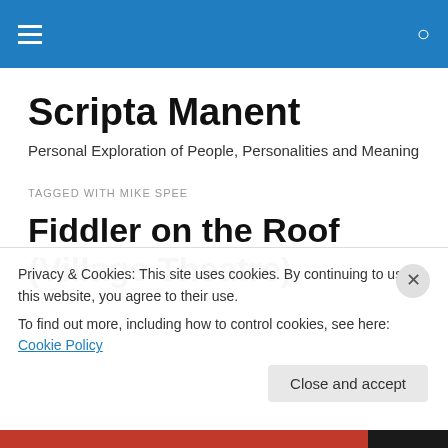Navigation bar with hamburger menu and search icon
Scripta Manent
Personal Exploration of People, Personalities and Meaning
TAGGED WITH MIKE SPEE
Fiddler on the Roof (Village Theatre)
Privacy & Cookies: This site uses cookies. By continuing to use this website, you agree to their use.
To find out more, including how to control cookies, see here: Cookie Policy
Close and accept